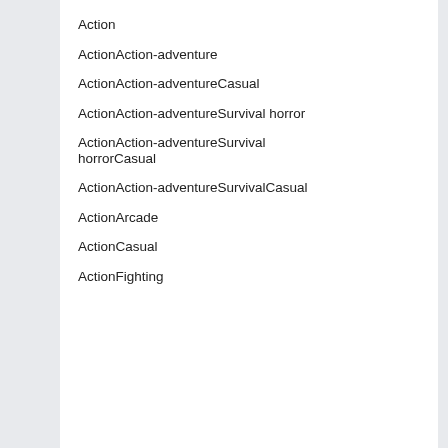Action
ActionAction-adventure
ActionAction-adventureCasual
ActionAction-adventureSurvival horror
ActionAction-adventureSurvival horrorCasual
ActionAction-adventureSurvivalCasual
ActionArcade
ActionCasual
ActionFighting